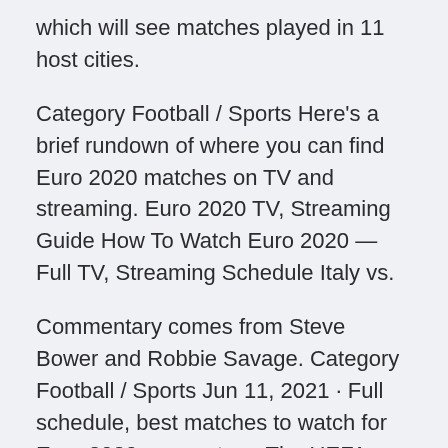which will see matches played in 11 host cities.
Category Football / Sports Here’s a brief rundown of where you can find Euro 2020 matches on TV and streaming. Euro 2020 TV, Streaming Guide How To Watch Euro 2020 — Full TV, Streaming Schedule Italy vs.
Commentary comes from Steve Bower and Robbie Savage. Category Football / Sports Jun 11, 2021 · Full schedule, best matches to watch for Euro 2020 group stage The UEFA European Championship — aka Euro 2020 (because it was supposed to be last year, get it?) aka Euros — starts Friday with the first match of the group stage, to be held at sites across the continent. Jun 12, 2021 · How to watch Wales vs Switzerland: Kickoff time, TV channel, and live stream for Euro 2020